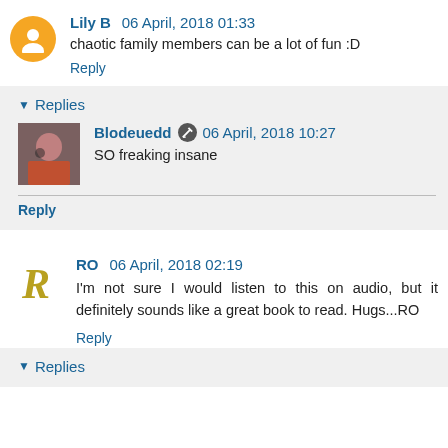Lily B 06 April, 2018 01:33
chaotic family members can be a lot of fun :D
Reply
Replies
Blodeuedd 06 April, 2018 10:27
SO freaking insane
Reply
RO 06 April, 2018 02:19
I'm not sure I would listen to this on audio, but it definitely sounds like a great book to read. Hugs...RO
Reply
Replies